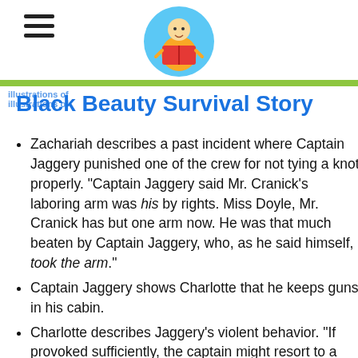[Hamburger menu icon and reading logo]
Black Beauty Survival Story
Zachariah describes a past incident where Captain Jaggery punished one of the crew for not tying a knot properly. "Captain Jaggery said Mr. Cranick's laboring arm was his by rights. Miss Doyle, Mr. Cranick has but one arm now. He was that much beaten by Captain Jaggery, who, as he said himself, took the arm."
Captain Jaggery shows Charlotte that he keeps guns in his cabin.
Charlotte describes Jaggery's violent behavior. "If provoked sufficiently, the captain might resort to a push or a slap with his own open hand. . . I saw him strike Morgan with a belaying pin, one of the heavy wood dowels used to secure a rigging rope to the pin rail. In dismay, I averted my eyes. The fellow was tardy about reefing a sail, the captain said and went on to catalog further likely threats. Confinement in